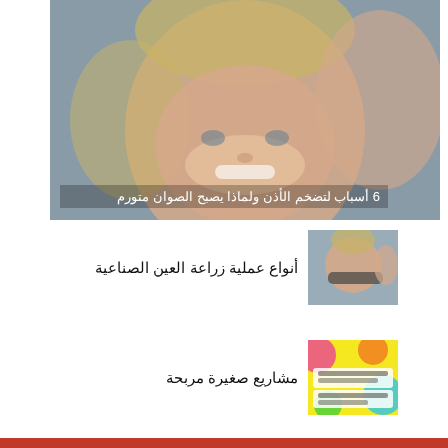[Figure (photo): Close-up photo of a smiling young blond child waving their hand toward the camera, blurred background]
6 أسباب لتضخم الأذن ولماذا يصبح الصوان متورم
أنواع عملية زراعة العين الصناعية
[Figure (photo): Thumbnail photo of a child having glasses fitted near the ear]
مشاريع صغيرة مربحة
[Figure (photo): Thumbnail colorful graphic about small profitable projects with Arabic text]